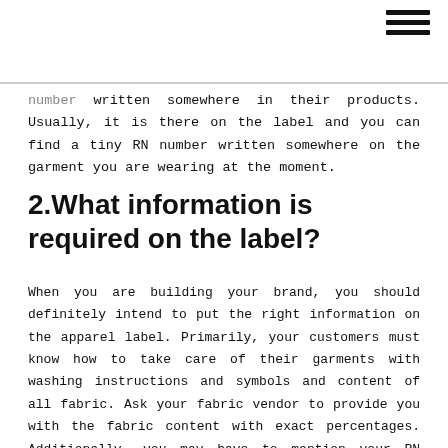≡ (hamburger menu icon)
number written somewhere in their products. Usually, it is there on the label and you can find a tiny RN number written somewhere on the garment you are wearing at the moment.
2.What information is required on the label?
When you are building your brand, you should definitely intend to put the right information on the apparel label. Primarily, your customers must know how to take care of their garments with washing instructions and symbols and content of all fabric. Ask your fabric vendor to provide you with the fabric content with exact percentages. Additionally, you may have to mention your RN number, the country where the garment was